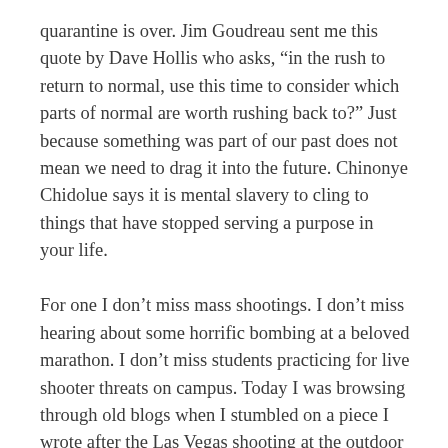quarantine is over. Jim Goudreau sent me this quote by Dave Hollis who asks, “in the rush to return to normal, use this time to consider which parts of normal are worth rushing back to?” Just because something was part of our past does not mean we need to drag it into the future. Chinonye Chidolue says it is mental slavery to cling to things that have stopped serving a purpose in your life.
For one I don’t miss mass shootings. I don’t miss hearing about some horrific bombing at a beloved marathon. I don’t miss students practicing for live shooter threats on campus. Today I was browsing through old blogs when I stumbled on a piece I wrote after the Las Vegas shooting at the outdoor concert and I wrote “I’m so tired of increasing body counts.” Across the globe we are not gathering at churches, schools, concerts, parades, marathons, bars, and cafes. The shooters have been completely thwarted. Let’s not go back.
It seems clear we have the ability to clean up the environment,